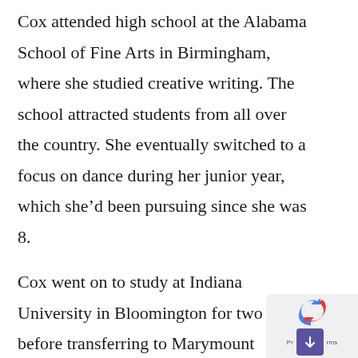Cox attended high school at the Alabama School of Fine Arts in Birmingham, where she studied creative writing. The school attracted students from all over the country. She eventually switched to a focus on dance during her junior year, which she'd been pursuing since she was 8.
Cox went on to study at Indiana University in Bloomington for two years before transferring to Marymount Manhattan College in